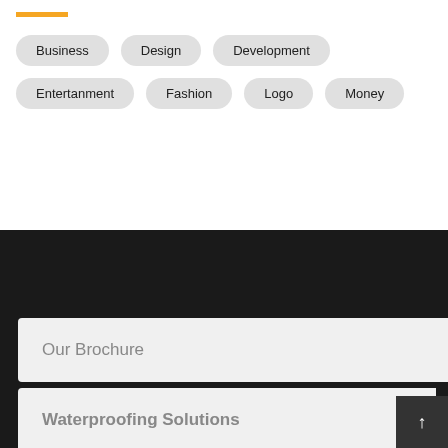Business
Design
Development
Entertanment
Fashion
Logo
Money
Our Brochure
Waterproofing Solutions